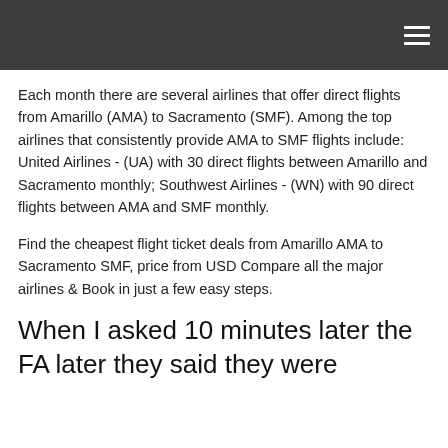≡
Each month there are several airlines that offer direct flights from Amarillo (AMA) to Sacramento (SMF). Among the top airlines that consistently provide AMA to SMF flights include: United Airlines - (UA) with 30 direct flights between Amarillo and Sacramento monthly; Southwest Airlines - (WN) with 90 direct flights between AMA and SMF monthly.
Find the cheapest flight ticket deals from Amarillo AMA to Sacramento SMF, price from USD Compare all the major airlines & Book in just a few easy steps.
When I asked 10 minutes later the FA later they said they were